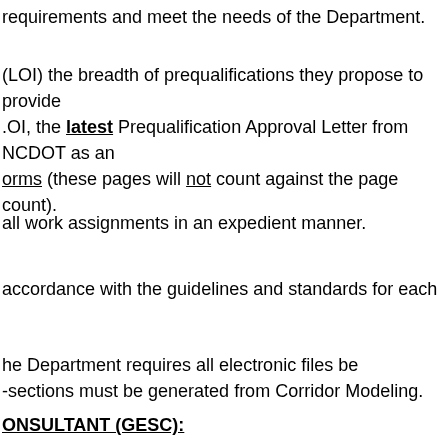requirements and meet the needs of the Department.
(LOI) the breadth of prequalifications they propose to provide LOI, the latest Prequalification Approval Letter from NCDOT as an orms (these pages will not count against the page count).
all work assignments in an expedient manner.
accordance with the guidelines and standards for each
he Department requires all electronic files be -sections must be generated from Corridor Modeling.
ONSULTANT (GESC):